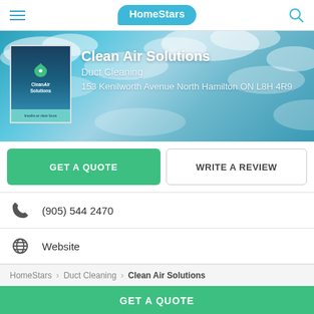HomeStars
[Figure (screenshot): Hero banner with sky/clouds background, company logo image, and Clean Air Solutions business info]
Clean Air Solutions
Duct Cleaning
153 Kenilworth Avenue North Hamilton ON L8H 4R9
GET A QUOTE
WRITE A REVIEW
(905) 544 2470
Website
HomeStars > Duct Cleaning > Clean Air Solutions
GET A QUOTE